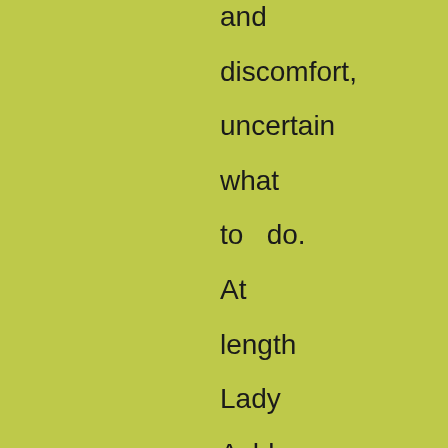and discomfort, uncertain what to  do. At length Lady Ashby came to  bid me good-morning. She informed me she had